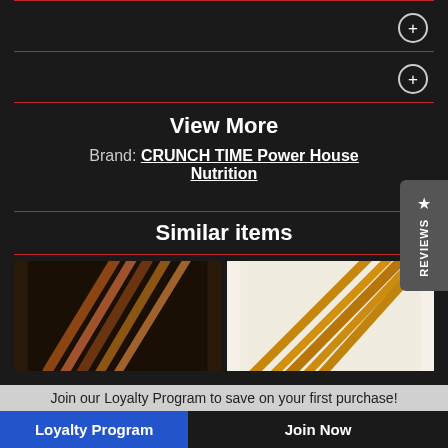View More
Brand: CRUNCH TIME Power House Nutrition
Similar items
[Figure (photo): Two product images showing brown stick/rod snack products side by side — left image on dark background, right image on white/cream background]
Join our Loyalty Program to save on your first purchase!
Loyalty Program
Join Now